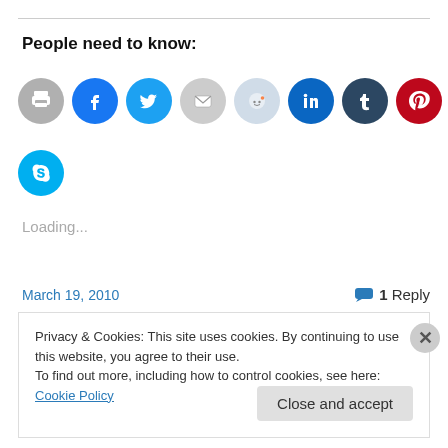People need to know:
[Figure (other): Row of social media sharing icon circles: print, Facebook, Twitter, email, Reddit, LinkedIn, Tumblr, Pinterest, Pocket, Telegram, WhatsApp, and a second row with Skype.]
Loading...
March 19, 2010
1 Reply
Privacy & Cookies: This site uses cookies. By continuing to use this website, you agree to their use.
To find out more, including how to control cookies, see here: Cookie Policy
Close and accept